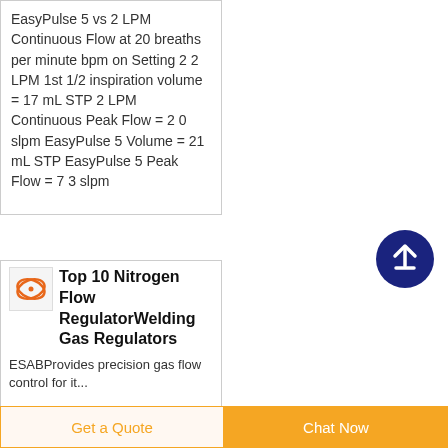EasyPulse 5 vs 2 LPM Continuous Flow at 20 breaths per minute bpm on Setting 2 2 LPM 1st 1/2 inspiration volume = 17 mL STP 2 LPM Continuous Peak Flow = 2 0 slpm EasyPulse 5 Volume = 21 mL STP EasyPulse 5 Peak Flow = 7 3 slpm
[Figure (logo): Small orange logo/icon for a product listing]
Top 10 Nitrogen Flow RegulatorWelding Gas Regulators
ESABProvides precision gas flow control for it...
Get a Quote
Chat Now